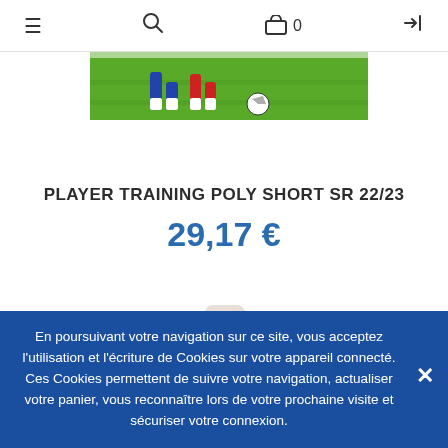≡  🔍  🛒 0  ➜
[Figure (photo): Partial photo of a football/soccer match on green grass field, showing players' legs and a ball]
PLAYER TRAINING POLY SHORT SR 22/23
29,17 €
[Figure (photo): Blue and white training jacket/top displayed on a mannequin torso, with Macron logo and club badge visible]
En poursuivant votre navigation sur ce site, vous acceptez l'utilisation et l'écriture de Cookies sur votre appareil connecté. Ces Cookies permettent de suivre votre navigation, actualiser votre panier, vous reconnaître lors de votre prochaine visite et sécuriser votre connexion.